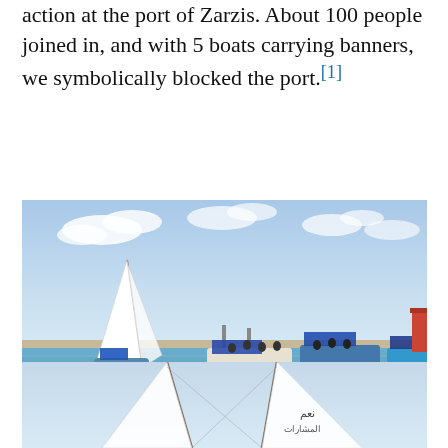action at the port of Zarzis. About 100 people joined in, and with 5 boats carrying banners, we symbolically blocked the port.[1]
[Figure (photo): Photograph of boats carrying banners at the port of Zarzis. A sailboat is visible on the left, and several larger boats with banners are in the center and right, with a red lighthouse structure visible on the far right. The sky is partly cloudy.]
[Figure (photo): Photograph showing the masts and sails of a sailboat against a light blue sky. Arabic text is visible on the sail.]